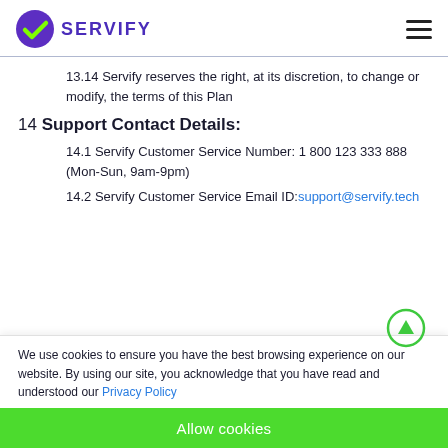SERVIFY
13.14 Servify reserves the right, at its discretion, to change or modify, the terms of this Plan
14 Support Contact Details:
14.1 Servify Customer Service Number: 1 800 123 333 888 (Mon-Sun, 9am-9pm)
14.2 Servify Customer Service Email ID: support@servify.tech
We use cookies to ensure you have the best browsing experience on our website. By using our site, you acknowledge that you have read and understood our Privacy Policy
Allow cookies